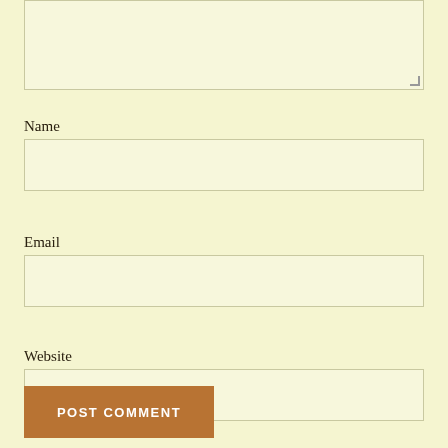[Figure (screenshot): Textarea input field at top of page, empty, with light yellow background and gray border, showing resize handle at bottom-right corner]
Name
[Figure (screenshot): Name input field, empty, with light yellow background and gray border]
Email
[Figure (screenshot): Email input field, empty, with light yellow background and gray border]
Website
[Figure (screenshot): Website input field, empty, with light yellow background and gray border]
POST COMMENT